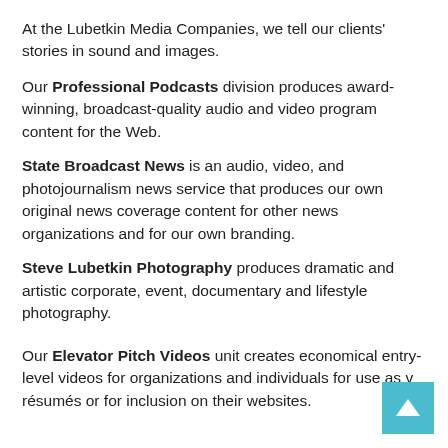At the Lubetkin Media Companies, we tell our clients' stories in sound and images.
Our Professional Podcasts division produces award-winning, broadcast-quality audio and video program content for the Web.
State Broadcast News is an audio, video, and photojournalism news service that produces our own original news coverage content for other news organizations and for our own branding.
Steve Lubetkin Photography produces dramatic and artistic corporate, event, documentary and lifestyle photography.
Our Elevator Pitch Videos unit creates economical entry-level videos for organizations and individuals for use as video résumés or for inclusion on their websites.